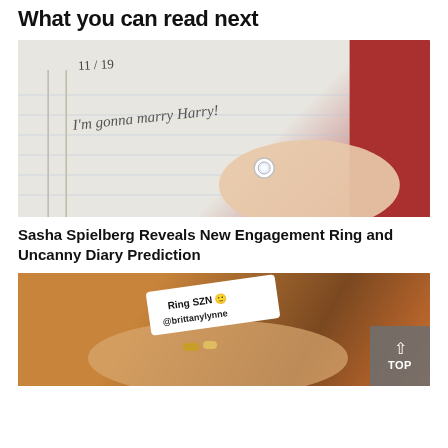What you can read next
[Figure (photo): A hand wearing a diamond engagement ring resting on a notebook page with handwritten text reading '11/19' at the top and 'I'm gonna marry Harry!' in cursive. A red book or cover is visible in the top right corner.]
Sasha Spielberg Reveals New Engagement Ring and Uncanny Diary Prediction
[Figure (screenshot): A social media story screenshot showing a hand with rings holding a drink, with a white sticker label reading 'Ring SZN 😊' and '@brittanylynne'. Warm orange/brown tones in the background.]